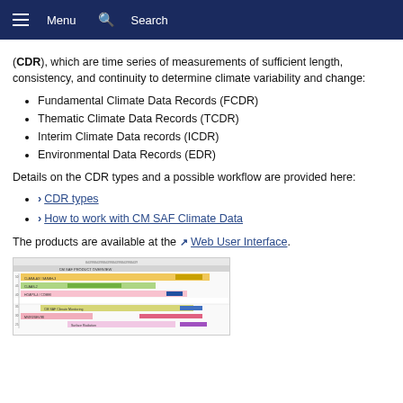Menu  Search
(CDR), which are time series of measurements of sufficient length, consistency, and continuity to determine climate variability and change:
Fundamental Climate Data Records (FCDR)
Thematic Climate Data Records (TCDR)
Interim Climate Data records (ICDR)
Environmental Data Records (EDR)
Details on the CDR types and a possible workflow are provided here:
CDR types
How to work with CM SAF Climate Data
The products are available at the Web User Interface.
[Figure (other): Screenshot of a Gantt-style chart showing CM SAF climate data records timeline with colored horizontal bars representing different data products across time periods.]